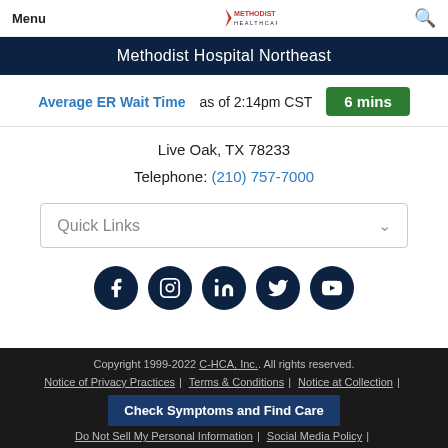Menu | Methodist Healthcare | Search
Methodist Hospital Northeast
Average ER Wait Time as of 2:14pm CST  6 mins
Live Oak, TX 78233
Telephone: (210) 757-7000
Quick Links
[Figure (infographic): Social media icons row: Facebook, Instagram, LinkedIn, Twitter, YouTube — dark navy circular buttons]
Copyright 1999-2022 C-HCA, Inc. All rights reserved. | Notice of Privacy Practices | Terms & Conditions | Notice at Collection | Check Symptoms and Find Care | Do Not Sell My Personal Information | Social Media Policy |